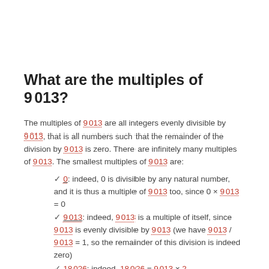What are the multiples of 9 013?
The multiples of 9 013 are all integers evenly divisible by 9 013, that is all numbers such that the remainder of the division by 9 013 is zero. There are infinitely many multiples of 9 013. The smallest multiples of 9 013 are:
0: indeed, 0 is divisible by any natural number, and it is thus a multiple of 9 013 too, since 0 × 9 013 = 0
9 013: indeed, 9 013 is a multiple of itself, since 9 013 is evenly divisible by 9 013 (we have 9 013 / 9 013 = 1, so the remainder of this division is indeed zero)
18 026: indeed, 18 026 = 9 013 × 2
27 039: indeed, 27 039 = 9 013 × 3
36 052: indeed, 36 052 = 9 013 × 4